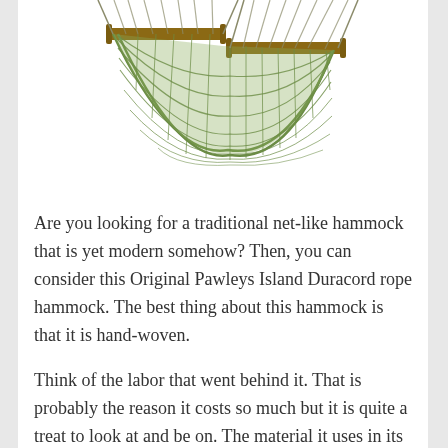[Figure (photo): A green rope hammock with wooden spreader bars viewed from the front, showing the net-like weave pattern. The hammock is shown against a white background, with the bottom of the hammock curving downward.]
Are you looking for a traditional net-like hammock that is yet modern somehow? Then, you can consider this Original Pawleys Island Duracord rope hammock. The best thing about this hammock is that it is hand-woven.
Think of the labor that went behind it. That is probably the reason it costs so much but it is quite a treat to look at and be on. The material it uses in its build is quite amazing too.